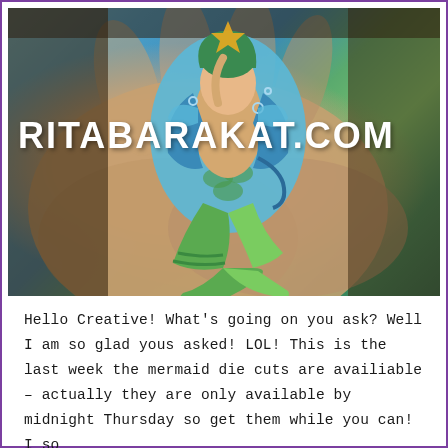[Figure (photo): A hand holding a mermaid-shaped die cut piece. The mermaid figure features colorful illustration with blue, green, and teal tones, holding a starfish. The watermark text RITABARAKAT.COM appears in large white bold letters overlaid on the image.]
Hello Creative! What's going on you ask? Well I am so glad yous asked! LOL! This is the last week the mermaid die cuts are availiable – actually they are only available by midnight Thursday so get them while you can! I so